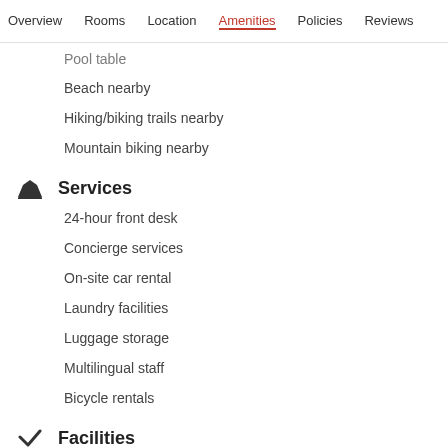Overview  Rooms  Location  Amenities  Policies  Reviews
Pool table
Beach nearby
Hiking/biking trails nearby
Mountain biking nearby
Services
24-hour front desk
Concierge services
On-site car rental
Laundry facilities
Luggage storage
Multilingual staff
Bicycle rentals
Facilities
1 building/tower
Built in 1998